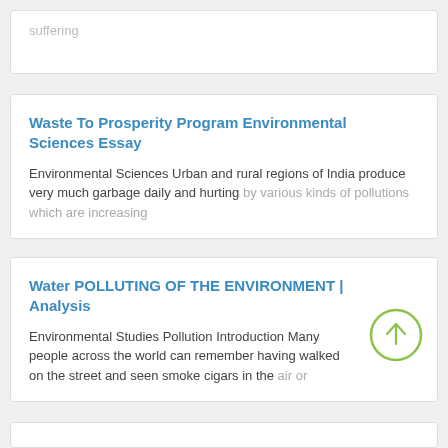suffering
Waste To Prosperity Program Environmental Sciences Essay
Environmental Sciences Urban and rural regions of India produce very much garbage daily and hurting by various kinds of pollutions which are increasing
Water POLLUTING OF THE ENVIRONMENT | Analysis
Environmental Studies Pollution Introduction Many people across the world can remember having walked on the street and seen smoke cigars in the air or